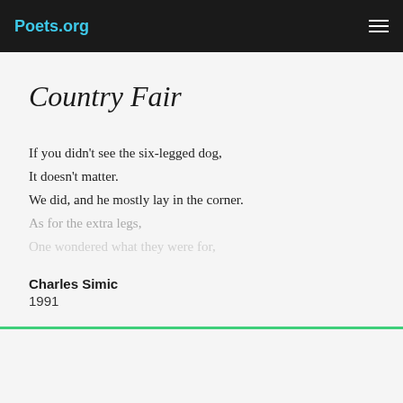Poets.org
Country Fair
If you didn't see the six-legged dog,
It doesn't matter.
We did, and he mostly lay in the corner.
As for the extra legs,
One wondered what they were for,
Charles Simic
1991